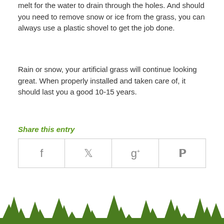melt for the water to drain through the holes. And should you need to remove snow or ice from the grass, you can always use a plastic shovel to get the job done.
Rain or snow, your artificial grass will continue looking great. When properly installed and taken care of, it should last you a good 10-15 years.
Share this entry
[Figure (other): Social share buttons row with Facebook, Twitter, Google+, and Pinterest icons in a bordered table]
[Figure (illustration): Decorative grass silhouette along the bottom of the page]